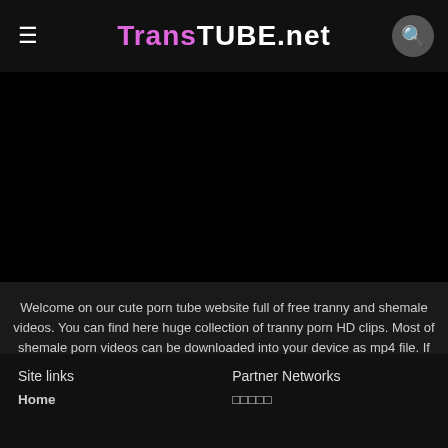Trans TUBE .net
[Figure (other): Black video/content area]
Welcome on our cute porn tube website full of free tranny and shemale videos. You can find here huge collection of tranny porn HD clips. Most of shemale porn videos can be downloaded into your device as mp4 file. If you start to be bored by watching all our shemale tranny clips, you can check our Top shemale Cam models. All these tranny girls are online and ready for your pleasure. We are doing our best to choose best shemale porn videos only for you.
Site links | Partner Networks | Home